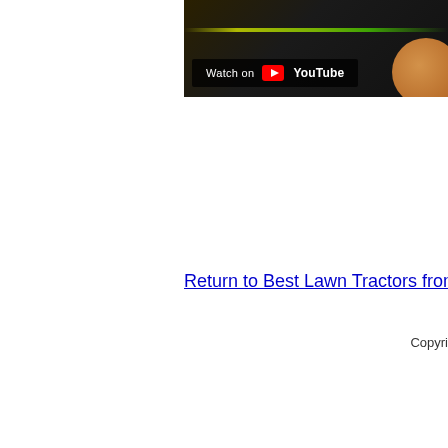[Figure (screenshot): Partial YouTube video thumbnail showing a dark scene with a 'Watch on YouTube' overlay button visible in the lower-left area of the video player. The right side shows a blurred orange/yellow element.]
Return to Best Lawn Tractors from
Copyri